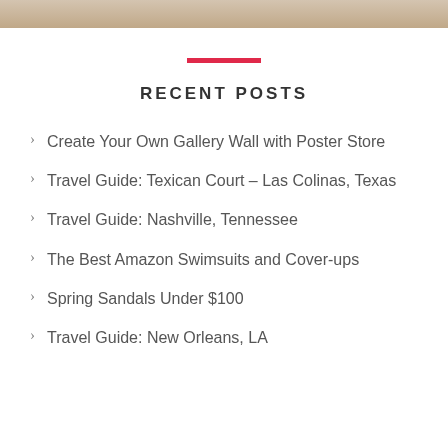[Figure (photo): Partial photo strip at the top of the page showing a person in colorful clothing]
RECENT POSTS
Create Your Own Gallery Wall with Poster Store
Travel Guide: Texican Court – Las Colinas, Texas
Travel Guide: Nashville, Tennessee
The Best Amazon Swimsuits and Cover-ups
Spring Sandals Under $100
Travel Guide: New Orleans, LA